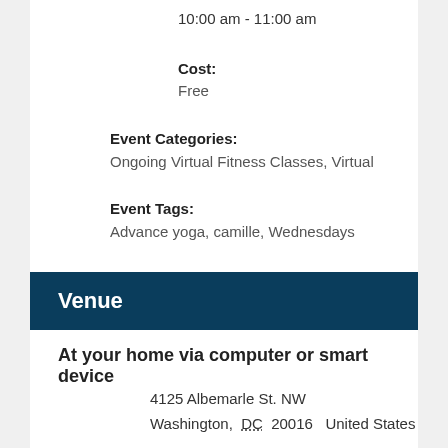10:00 am - 11:00 am
Cost:
Free
Event Categories:
Ongoing Virtual Fitness Classes, Virtual
Event Tags:
Advance yoga, camille, Wednesdays
Venue
At your home via computer or smart device
4125 Albemarle St. NW
Washington, DC 20016 United States